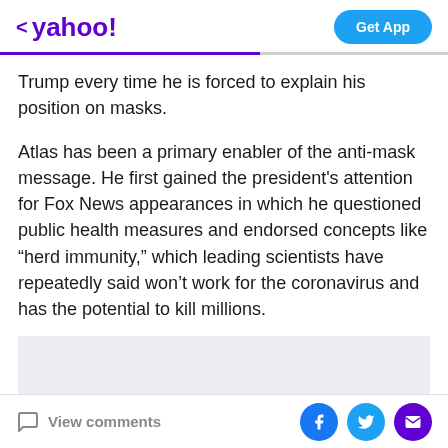< yahoo!  Get App
Trump every time he is forced to explain his position on masks.
Atlas has been a primary enabler of the anti-mask message. He first gained the president's attention for Fox News appearances in which he questioned public health measures and endorsed concepts like “herd immunity,” which leading scientists have repeatedly said won’t work for the coronavirus and has the potential to kill millions.
[Figure (other): Gray advertisement placeholder box]
View comments  [Facebook] [Twitter] [Email]